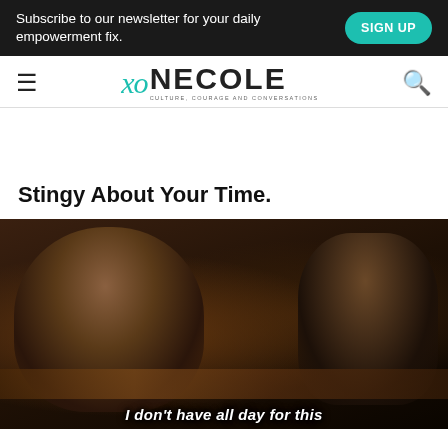Subscribe to our newsletter for your daily empowerment fix.  SIGN UP
[Figure (logo): XO Necole logo with hamburger menu and search icon]
Stingy About Your Time.
[Figure (photo): TV show still with a woman gesturing on the left and a man in a suit sitting on the right at a table. Subtitle reads: I don't have all day for this]
I don't have all day for this